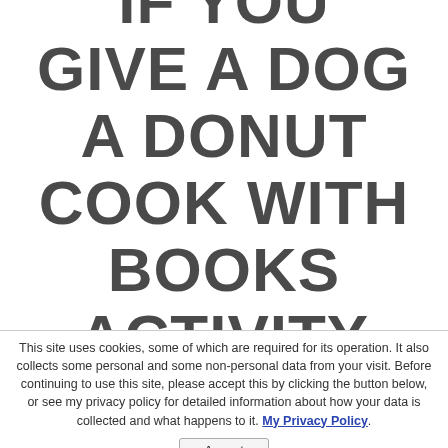IF YOU GIVE A DOG A DONUT COOK WITH BOOKS ACTIVITY
This site uses cookies, some of which are required for its operation. It also collects some personal and some non-personal data from your visit. Before continuing to use this site, please accept this by clicking the button below, or see my privacy policy for detailed information about how your data is collected and what happens to it. My Privacy Policy.